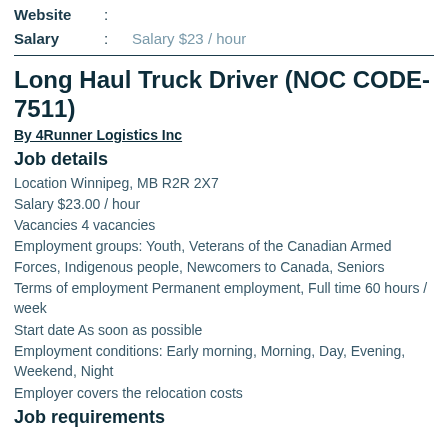Website :
Salary : Salary $23 / hour
Long Haul Truck Driver (NOC CODE-7511)
By 4Runner Logistics Inc
Job details
Location Winnipeg, MB R2R 2X7
Salary $23.00 / hour
Vacancies 4 vacancies
Employment groups: Youth, Veterans of the Canadian Armed Forces, Indigenous people, Newcomers to Canada, Seniors
Terms of employment Permanent employment, Full time 60 hours / week
Start date As soon as possible
Employment conditions: Early morning, Morning, Day, Evening, Weekend, Night
Employer covers the relocation costs
Job requirements